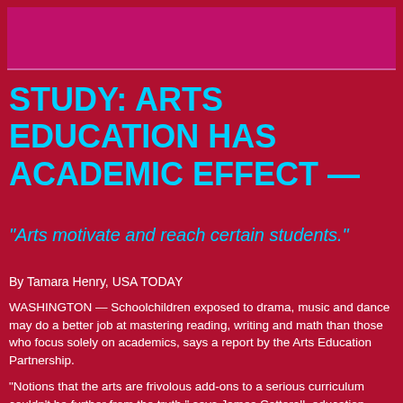[Figure (other): Magenta/pink header bar at top of page]
STUDY: ARTS EDUCATION HAS ACADEMIC EFFECT  —
"Arts motivate and reach certain students."
By Tamara Henry, USA TODAY
WASHINGTON — Schoolchildren exposed to drama, music and dance may do a better job at mastering reading, writing and math than those who focus solely on academics, says a report by the Arts Education Partnership.
"Notions that the arts are frivolous add-ons to a serious curriculum couldn't be further from the truth," says James Catterall, education professor at the University of California-Los Angeles, who coordinated the research.
The report is based on an analysis of 62 studies of various categories of art — ranging from dance, drama, music and visual arts — by